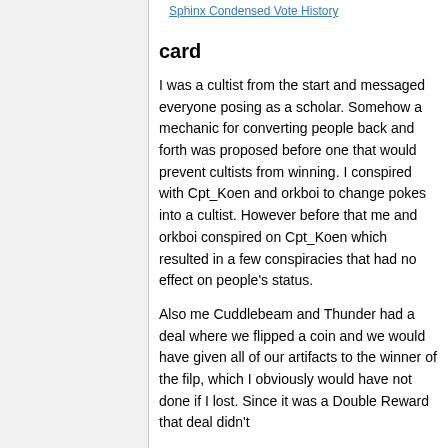Sphinx Condensed Vote History
card
I was a cultist from the start and messaged everyone posing as a scholar. Somehow a mechanic for converting people back and forth was proposed before one that would prevent cultists from winning. I conspired with Cpt_Koen and orkboi to change pokes into a cultist. However before that me and orkboi conspired on Cpt_Koen which resulted in a few conspiracies that had no effect on people's status.
Also me Cuddlebeam and Thunder had a deal where we flipped a coin and we would have given all of our artifacts to the winner of the filp, which I obviously would have not done if I lost. Since it was a Double Reward that deal didn't